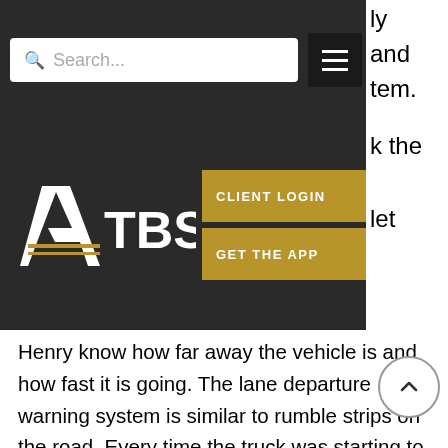[Figure (screenshot): Navigation bar with search box and hamburger menu on dark background, with partial text 'ly', 'and', 'tem.', 'k the', 'let' visible on the right side]
[Figure (logo): ATBS logo with stylized A and TBS text in white on dark background, with CLIENT LOGIN and GET THE APP gold buttons]
Henry know how far away the vehicle is and how fast it is going. The lane departure warning system is similar to rumble strips on the road. Every time the truck was starting to go out of the lane it was in, the lane ass would make a beeping noise to warn Henry.